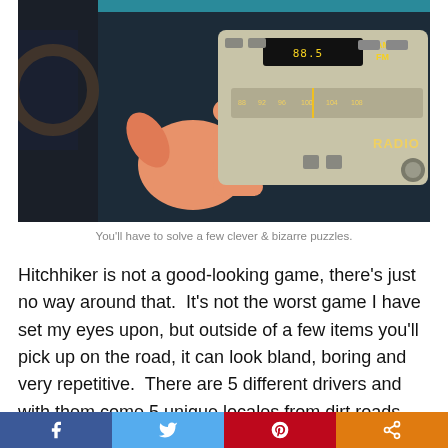[Figure (screenshot): A screenshot of a video game showing a cartoon hand reaching toward a car radio dashboard panel. The radio display shows AM/FM labels and frequency numbers in yellow text on a dark background.]
You'll have to solve a few clever & bizarre puzzles.
Hitchhiker is not a good-looking game, there's just no way around that.  It's not the worst game I have set my eyes upon, but outside of a few items you'll pick up on the road, it can look bland, boring and very repetitive.  There are 5 different drivers and with them come 5 unique locales from dirt roads surrounded by grassy fields, a quiet neighborhood, desert highway and a couple more.  The overall look of the game is cartoonish but almost everything, including the people you meet, lack much in the way of details and animations making everything in here look under cooked.  Car wheels don't spin while driving, mouths barely move and often don't match their
[Figure (infographic): Social media sharing bar at the bottom with Facebook, Twitter, Pinterest, and Share buttons.]